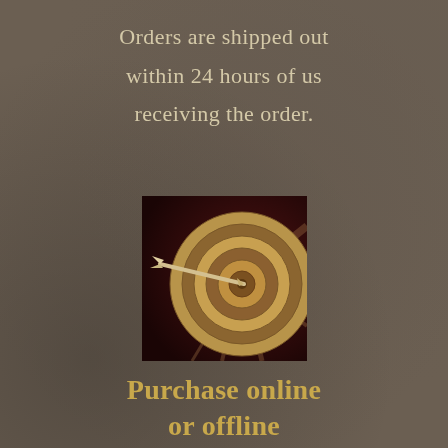Orders are shipped out within 24 hours of us receiving the order.
[Figure (illustration): A target/bullseye with an arrow hitting the center, warm brown and dark red tones]
Purchase online or offline
You can also pickup your order at our store.